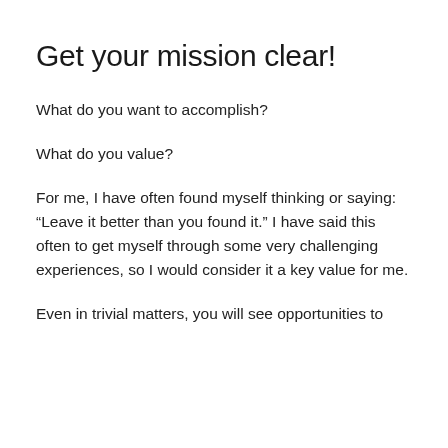Get your mission clear!
What do you want to accomplish?
What do you value?
For me, I have often found myself thinking or saying: “Leave it better than you found it.” I have said this often to get myself through some very challenging experiences, so I would consider it a key value for me.
Even in trivial matters, you will see opportunities to